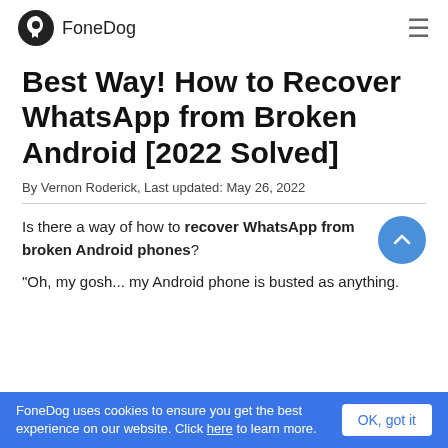FoneDog
Best Way! How to Recover WhatsApp from Broken Android [2022 Solved]
By Vernon Roderick, Last updated: May 26, 2022
Is there a way of how to recover WhatsApp from broken Android phones?
"Oh, my gosh... my Android phone is busted as anything.
work and as always I was just checking out something on my phone.
FoneDog uses cookies to ensure you get the best experience on our website. Click here to learn more.